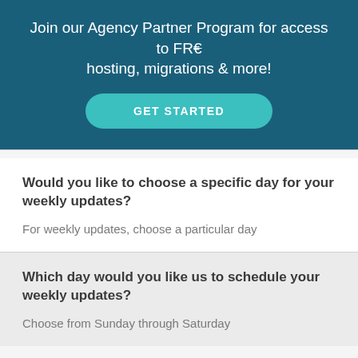Join our Agency Partner Program for access to FREE hosting, migrations & more!
GET STARTED
Would you like to choose a specific day for your weekly updates?
For weekly updates, choose a particular day
Which day would you like us to schedule your weekly updates?
Choose from Sunday through Saturday
Notifications